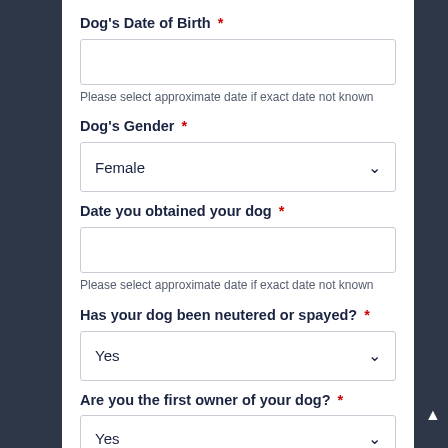Dog's Date of Birth *
Please select approximate date if exact date not known
Dog's Gender *
Female (selected)
Date you obtained your dog *
Please select approximate date if exact date not known
Has your dog been neutered or spayed? *
Yes (selected)
Are you the first owner of your dog? *
Yes (selected)